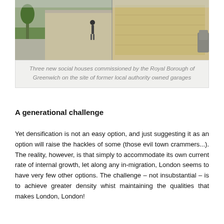[Figure (photo): Photograph of three new social houses commissioned by the Royal Borough of Greenwich, showing buildings with stone/brick facade and a person walking, with a car visible at the edge]
Three new social houses commissioned by the Royal Borough of Greenwich on the site of former local authority owned garages
A generational challenge
Yet densification is not an easy option, and just suggesting it as an option will raise the hackles of some (those evil town crammers...). The reality, however, is that simply to accommodate its own current rate of internal growth, let along any in-migration, London seems to have very few other options. The challenge – not insubstantial – is to achieve greater density whist maintaining the qualities that makes London, London!